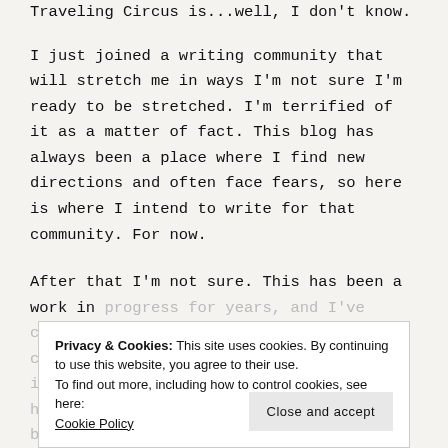Traveling Circus is...well, I don't know.
I just joined a writing community that will stretch me in ways I'm not sure I'm ready to be stretched. I'm terrified of it as a matter of fact. This blog has always been a place where I find new directions and often face fears, so here is where I intend to write for that community. For now.
After that I'm not sure. This has been a work in progress for years, and I've continued to figure out where to go with it. I hope you'll stick around for the ride because whatever I do, it is the readers on both blogs that I do it for.
Privacy & Cookies: This site uses cookies. By continuing to use this website, you agree to their use.
To find out more, including how to control cookies, see here:
Cookie Policy
Close and accept